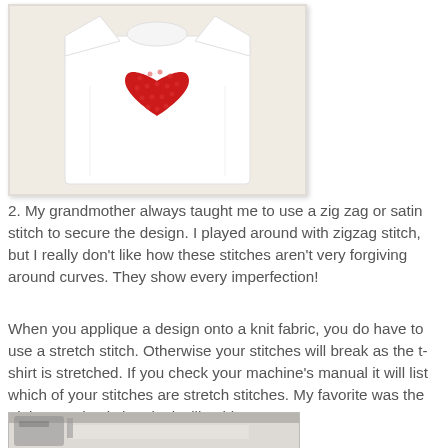[Figure (photo): White t-shirt laid flat with a red polka-dot heart appliqued on the chest, on a light beige background]
2.  My grandmother always taught me to use a zig zag or satin stitch to secure the design.  I played around with zigzag stitch, but I really don't like how these stitches aren't very forgiving around curves. They show every imperfection!
When you applique a design onto a knit fabric, you do have to use a stretch stitch.  Otherwise your stitches will break as the t-shirt is stretched.   If you check your machine's manual it will list which of your stitches are stretch stitches.  My favorite was the triple stretch stitch.  It looks like this:
[Figure (photo): Close-up photo of a sewing machine showing the triple stretch stitch in use]